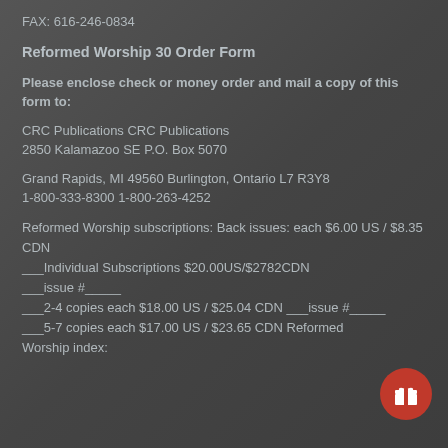FAX: 616-246-0834
Reformed Worship 30 Order Form
Please enclose check or money order and mail a copy of this form to:
CRC Publications CRC Publications
2850 Kalamazoo SE P.O. Box 5070
Grand Rapids, MI 49560 Burlington, Ontario L7 R3Y8
1-800-333-8300 1-800-263-4252
Reformed Worship subscriptions: Back issues: each $6.00 US / $8.35 CDN
___Individual Subscriptions $20.00US/$2782CDN
___issue #_____
___2-4 copies each $18.00 US / $25.04 CDN ___issue #_____
___5-7 copies each $17.00 US / $23.65 CDN Reformed Worship index: